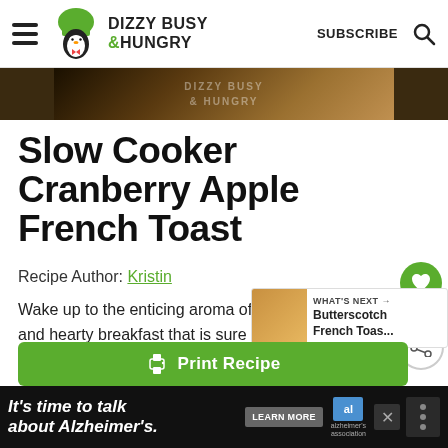DIZZY BUSY & HUNGRY | SUBSCRIBE
[Figure (photo): Hero image stripe with Dizzy Busy & Hungry watermark overlay, dark brown food background]
Slow Cooker Cranberry Apple French Toast
Recipe Author: Kristin
Wake up to the enticing aroma of this warm and hearty breakfast that is sure to give your family a great start to their day!
4.56 from 9 votes
[Figure (screenshot): What's Next panel: Butterscotch French Toas...]
Print Recipe
[Figure (infographic): Advertisement banner: It's time to talk about Alzheimer's. LEARN MORE. Alzheimer's association logo.]